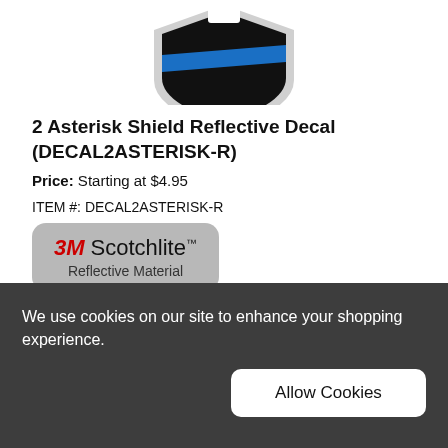[Figure (illustration): Partial view of a black and blue shield-shaped reflective decal with a white asterisk/star element at top center]
2 Asterisk Shield Reflective Decal (DECAL2ASTERISK-R)
Price: Starting at $4.95
ITEM #: DECAL2ASTERISK-R
[Figure (logo): 3M Scotchlite Reflective Material logo badge on grey rounded rectangle background]
Decals from 2" tall to 22" Tall
We use cookies on our site to enhance your shopping experience.